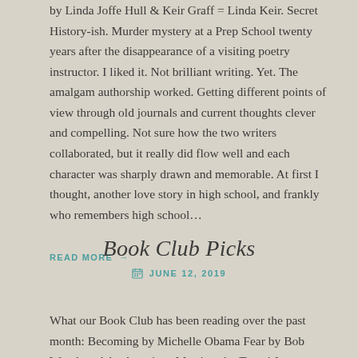by Linda Joffe Hull & Keir Graff = Linda Keir. Secret History-ish. Murder mystery at a Prep School twenty years after the disappearance of a visiting poetry instructor. I liked it. Not brilliant writing. Yet. The amalgam authorship worked. Getting different points of view through old journals and current thoughts clever and compelling. Not sure how the two writers collaborated, but it really did flow well and each character was sharply drawn and memorable. At first I thought, another love story in high school, and frankly who remembers high school…
READ MORE →
Book Club Picks
JUNE 12, 2019
What our Book Club has been reading over the past month: Becoming by Michelle Obama Fear by Bob Woodward An American Marriage by Tayari Jones Manhattan Beach by Jennifer